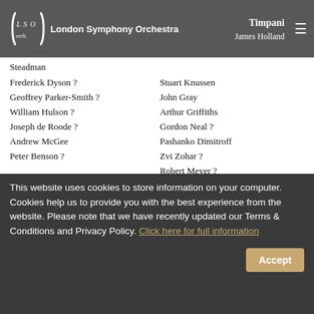London Symphony Orchestra — Timpani: James Holland
Steadman
Frederick Dyson ? | Stuart Knussen
Geoffrey Parker-Smith ? | John Gray
William Hulson ? | Arthur Griffiths
Joseph de Roode ? | Gordon Neal ?
Andrew McGee | Pashanko Dimitroff
Peter Benson ? | Zvi Zohar ?
Robert Meyer ?
Frank Bailey ?
Player lists in contemporary concert programmes were used to fill in gaps resulting from unidentified members of the string sections.
This website uses cookies to store information on your computer. Cookies help us to provide you with the best experience from the website. Please note that we have recently updated our Terms & Conditions and Privacy Policy. Click here for full information